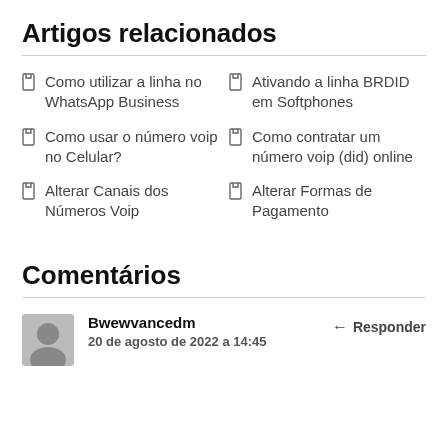Artigos relacionados
Como utilizar a linha no WhatsApp Business
Ativando a linha BRDID em Softphones
Como usar o número voip no Celular?
Como contratar um número voip (did) online
Alterar Canais dos Números Voip
Alterar Formas de Pagamento
Comentários
Bwewvancedm
20 de agosto de 2022 a 14:45